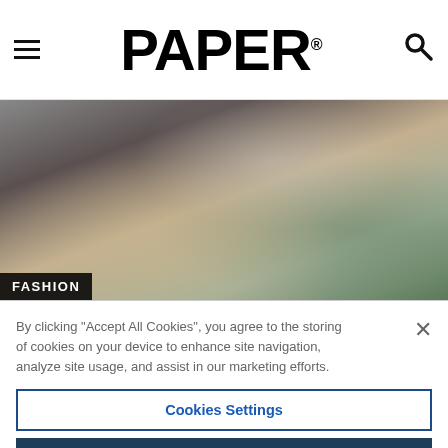PAPER
[Figure (photo): Close-up fashion photo showing people in stylish clothing with blue accessories and cream/white outfits, partially blurred]
FASHION
By clicking “Accept All Cookies“, you agree to the storing of cookies on your device to enhance site navigation, analyze site usage, and assist in our marketing efforts.
Cookies Settings
Reject All
Accept All Cookies